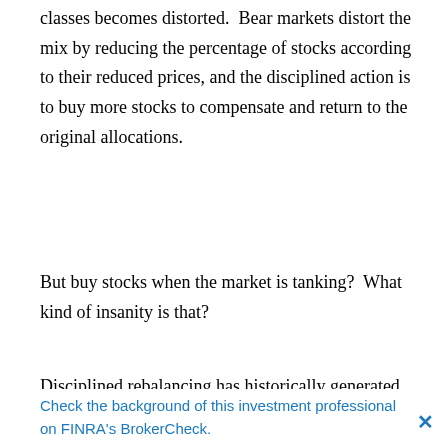classes becomes distorted.  Bear markets distort the mix by reducing the percentage of stocks according to their reduced prices, and the disciplined action is to buy more stocks to compensate and return to the original allocations.
But buy stocks when the market is tanking?  What kind of insanity is that?
Disciplined rebalancing has historically generated the
Check the background of this investment professional on FINRA's BrokerCheck.